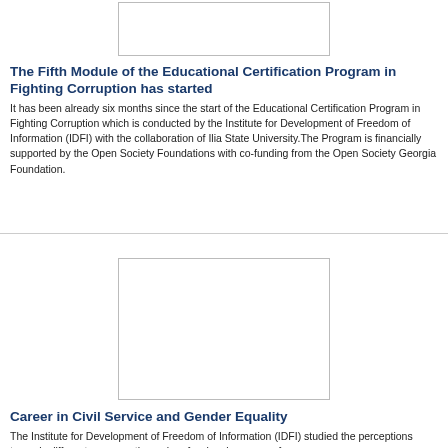[Figure (other): Rectangular image placeholder at top center]
The Fifth Module of the Educational Certification Program in Fighting Corruption has started
It has been already six months since the start of the Educational Certification Program in Fighting Corruption which is conducted by the Institute for Development of Freedom of Information (IDFI) with the collaboration of Ilia State University.The Program is financially supported by the Open Society Foundations with co-funding from the Open Society Georgia Foundation.
[Figure (other): Rectangular image placeholder in middle center]
Career in Civil Service and Gender Equality
The Institute for Development of Freedom of Information (IDFI) studied the perceptions towards different career paths and professional success of